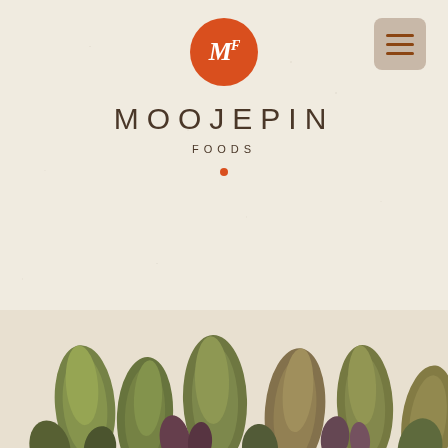[Figure (logo): Orange circle logo with white italic MF lettermark for Moojepin Foods]
MOOJEPIN
FOODS
[Figure (photo): Close-up photograph of green and purple succulent plant leaves filling the lower portion of the page]